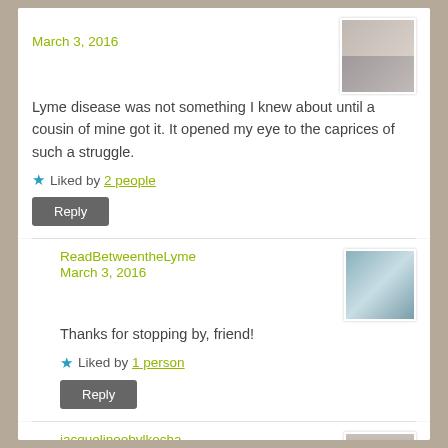March 3, 2016
Lyme disease was not something I knew about until a cousin of mine got it. It opened my eye to the caprices of such a struggle.
Liked by 2 people
Reply
ReadBetweentheLyme
March 3, 2016
Thanks for stopping by, friend!
Liked by 1 person
Reply
jacquelineobylkocha